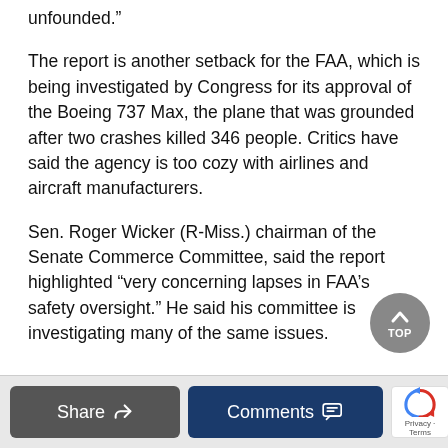would tolerate a relaxing of standards is absolutely unfounded.”
The report is another setback for the FAA, which is being investigated by Congress for its approval of the Boeing 737 Max, the plane that was grounded after two crashes killed 346 people. Critics have said the agency is too cozy with airlines and aircraft manufacturers.
Sen. Roger Wicker (R-Miss.) chairman of the Senate Commerce Committee, said the report highlighted “very concerning lapses in FAA’s safety oversight.” He said his committee is investigating many of the same issues.